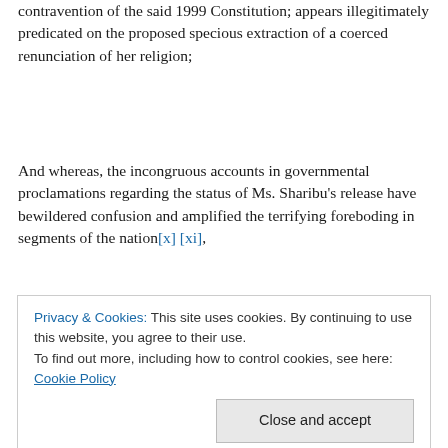contravention of the said 1999 Constitution; appears illegitimately predicated on the proposed specious extraction of a coerced renunciation of her religion;
And whereas, the incongruous accounts in governmental proclamations regarding the status of Ms. Sharibu's release have bewildered confusion and amplified the terrifying foreboding in segments of the nation[x] [xi],
condemnation should always be swift and compelling in